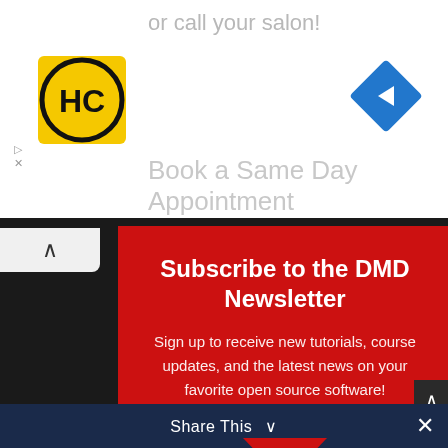or call your salon!
[Figure (logo): HC logo - black circle with HC letters in yellow square]
[Figure (other): Blue diamond navigation arrow pointing right]
Book a Same Day Appointment
Subscribe to the DMD Newsletter
Sign up to receive new tutorials, course updates, and the latest news on your favorite open source software!
Email
SUBSCRIBE!
Share This